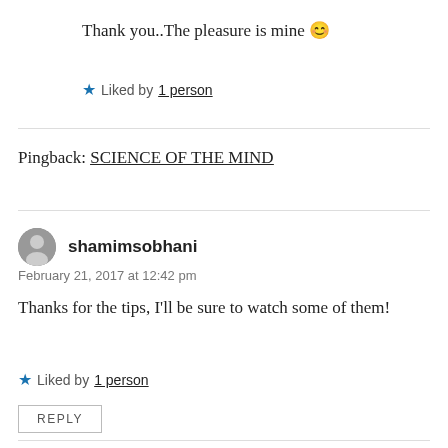Thank you..The pleasure is mine 😊
★ Liked by 1 person
Pingback: SCIENCE OF THE MIND
shamimsobhani
February 21, 2017 at 12:42 pm
Thanks for the tips, I'll be sure to watch some of them!
★ Liked by 1 person
REPLY